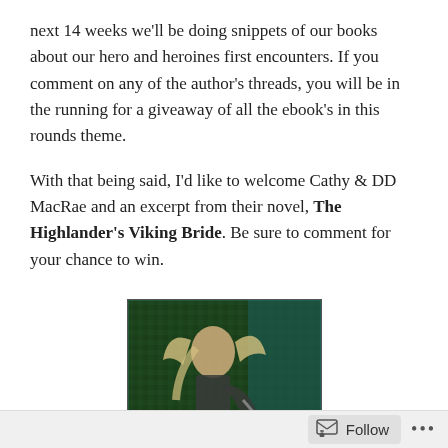next 14 weeks we'll be doing snippets of our books about our hero and heroines first encounters. If you comment on any of the author's threads, you will be in the running for a giveaway of all the ebook's in this rounds theme.
With that being said, I'd like to welcome Cathy & DD MacRae and an excerpt from their novel, The Highlander's Viking Bride. Be sure to comment for your chance to win.
[Figure (illustration): Book cover for 'The Highlander's Viking Bride', Hardy Heroines Series Book 1. Shows a blonde warrior woman with flowing hair holding a weapon, against a dark tartan/Celtic background in teal and dark green tones. Title text in gold at the bottom.]
Follow ···